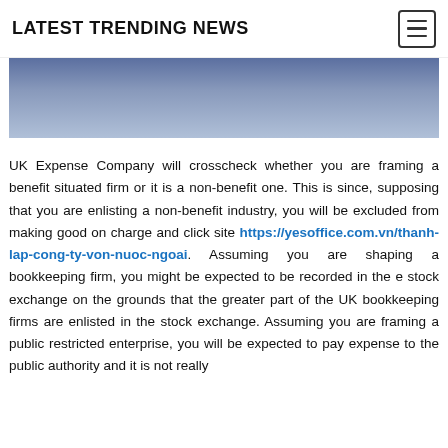LATEST TRENDING NEWS
[Figure (photo): Partial image of a person in a blue outfit, cropped at the top]
UK Expense Company will crosscheck whether you are framing a benefit situated firm or it is a non-benefit one. This is since, supposing that you are enlisting a non-benefit industry, you will be excluded from making good on charge and click site https://yesoffice.com.vn/thanh-lap-cong-ty-von-nuoc-ngoai. Assuming you are shaping a bookkeeping firm, you might be expected to be recorded in the e stock exchange on the grounds that the greater part of the UK bookkeeping firms are enlisted in the stock exchange. Assuming you are framing a public restricted enterprise, you will be expected to pay expense to the public authority and it is not really